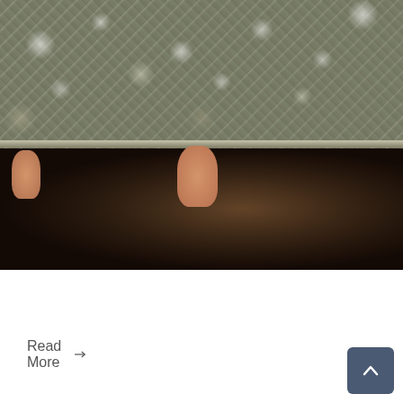[Figure (photo): Close-up photo of a mold-covered granite surface being lifted, showing two fingers underneath holding it up against a dark background.]
Call for Mold Questions.
Read More →